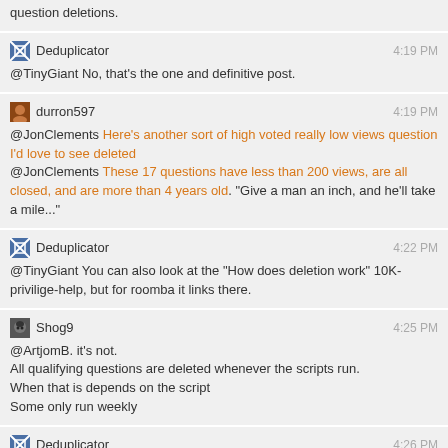question deletions.
Deduplicator 4:19 PM
@TinyGiant No, that's the one and definitive post.
durron597 4:19 PM
@JonClements Here's another sort of high voted really low views question I'd love to see deleted
@JonClements These 17 questions have less than 200 views, are all closed, and are more than 4 years old. "Give a man an inch, and he'll take a mile..."
Deduplicator 4:22 PM
@TinyGiant You can also look at the "How does deletion work" 10K-privilige-help, but for roomba it links there.
Shog9 4:25 PM
@ArtjomB. it's not.
All qualifying questions are deleted whenever the scripts run.
When that is depends on the script
Some only run weekly
Deduplicator 4:26 PM
I think the only system delete-rate-limit is for abandoned accounts. Unless I missed an update there...
user4639281 4:27 PM
Do questions that fit the criteria otherwise for the year-old deletion script, but have comments get deleted if they are scored -1?